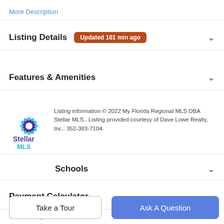More Description
Listing Details
Updated 161 min ago
Features & Amenities
[Figure (logo): Stellar MLS logo with blue and purple snowflake-like star design and text 'Stellar MLS']
Listing information © 2022 My Florida Regional MLS DBA Stellar MLS.. Listing provided courtesy of Dave Lowe Realty, Inc.: 352-383-7104.
Schools
Payment Calculator
Contact Agent
Take a Tour
Ask A Question